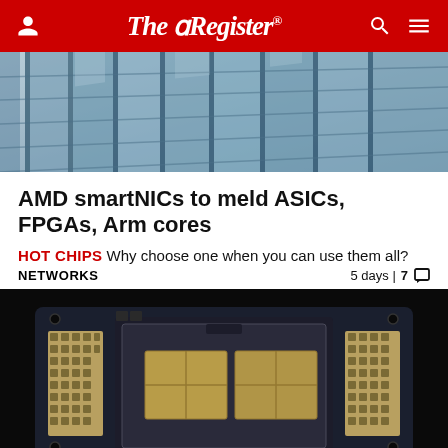The Register
[Figure (photo): Glass facade of a modern office building photographed from below at an angle, showing reflective blue-grey glass panels and structural columns]
AMD smartNICs to meld ASICs, FPGAs, Arm cores
HOT CHIPS Why choose one when you can use them all?
NETWORKS  5 days | 7
[Figure (photo): Close-up photograph of an AMD smartNIC circuit board showing the main processor package with multiple chiplets visible under the heat spreader lid, connector arrays on sides, and various SMD components on a dark PCB, photographed against a black background]